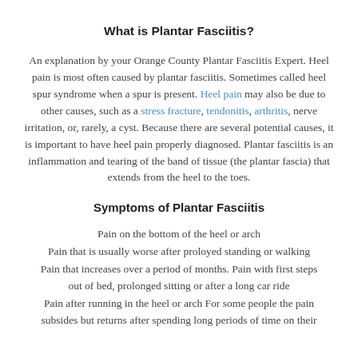What is Plantar Fasciitis?
An explanation by your Orange County Plantar Fasciitis Expert. Heel pain is most often caused by plantar fasciitis. Sometimes called heel spur syndrome when a spur is present. Heel pain may also be due to other causes, such as a stress fracture, tendonitis, arthritis, nerve irritation, or, rarely, a cyst. Because there are several potential causes, it is important to have heel pain properly diagnosed. Plantar fasciitis is an inflammation and tearing of the band of tissue (the plantar fascia) that extends from the heel to the toes.
Symptoms of Plantar Fasciitis
Pain on the bottom of the heel or arch
Pain that is usually worse after proloyed standing or walking
Pain that increases over a period of months. Pain with first steps out of bed, prolonged sitting or after a long car ride
Pain after running in the heel or arch For some people the pain subsides but returns after spending long periods of time on their